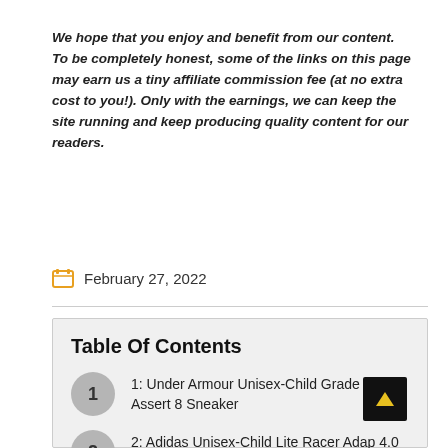We hope that you enjoy and benefit from our content. To be completely honest, some of the links on this page may earn us a tiny affiliate commission fee (at no extra cost to you!). Only with the earnings, we can keep the site running and keep producing quality content for our readers.
February 27, 2022
Table Of Contents
1: Under Armour Unisex-Child Grade School Assert 8 Sneaker
2: Adidas Unisex-Child Lite Racer Adapt 4.0 Running Shoe